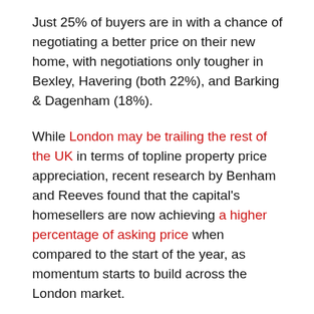Just 25% of buyers are in with a chance of negotiating a better price on their new home, with negotiations only tougher in Bexley, Havering (both 22%), and Barking & Dagenham (18%).
While London may be trailing the rest of the UK in terms of topline property price appreciation, recent research by Benham and Reeves found that the capital's homesellers are now achieving a higher percentage of asking price when compared to the start of the year, as momentum starts to build across the London market.
However, sellers are remaining realistic about their price expectations in current market conditions. This means there are plenty of homes selling at a reduced price compared to the initial asking price they first entered the market at.
NOW READ: City of London has highest proportion of empty...